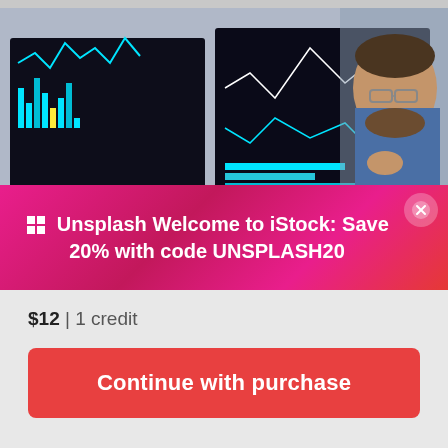[Figure (photo): Man with glasses and beard looking thoughtfully at multiple computer monitors displaying financial trading charts and dashboards with blue and teal colors. An Unsplash/iStock promotional banner overlaid on the bottom of the image reads: 'Unsplash Welcome to iStock: Save 20% with code UNSPLASH20']
$12 | 1 credit
Continue with purchase